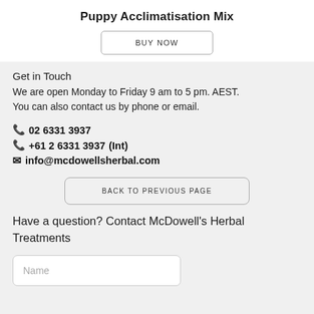Puppy Acclimatisation Mix
[Figure (other): BUY NOW button with border]
Get in Touch
We are open Monday to Friday 9 am to 5 pm. AEST. You can also contact us by phone or email.
02 6331 3937
+61 2 6331 3937(Int)
info@mcdowellsherbal.com
[Figure (other): BACK TO PREVIOUS PAGE button with border]
Have a question? Contact McDowell's Herbal Treatments
Name